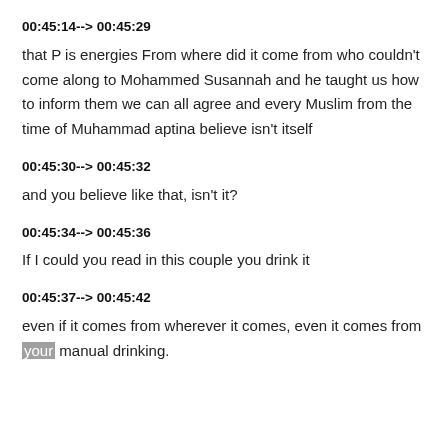00:45:14--> 00:45:29
that P is energies From where did it come from who couldn't come along to Mohammed Susannah and he taught us how to inform them we can all agree and every Muslim from the time of Muhammad aptina believe isn't itself
00:45:30--> 00:45:32
and you believe like that, isn't it?
00:45:34--> 00:45:36
If I could you read in this couple you drink it
00:45:37--> 00:45:42
even if it comes from wherever it comes, even it comes from your manual drinking.